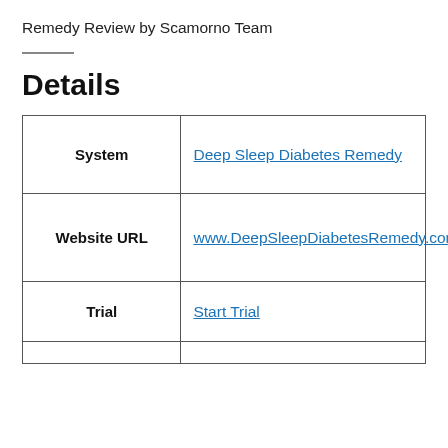Remedy Review by Scamorno Team
Details
| System | Deep Sleep Diabetes Remedy |
| Website URL | www.DeepSleepDiabetesRemedy.com |
| Trial | Start Trial |
|  |  |